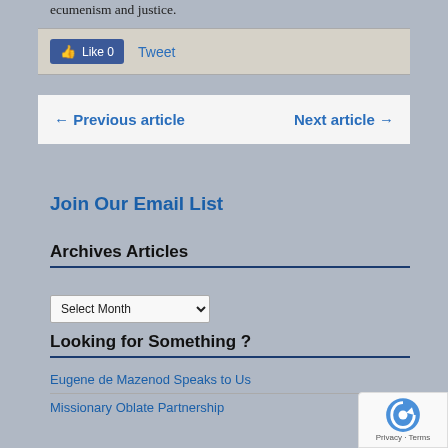ecumenism and justice.
[Figure (screenshot): Social sharing bar with Facebook Like button showing 0 likes and a Tweet link]
← Previous article    Next article →
Join Our Email List
Archives Articles
Select Month (dropdown)
Looking for Something ?
Eugene de Mazenod Speaks to Us
Missionary Oblate Partnership